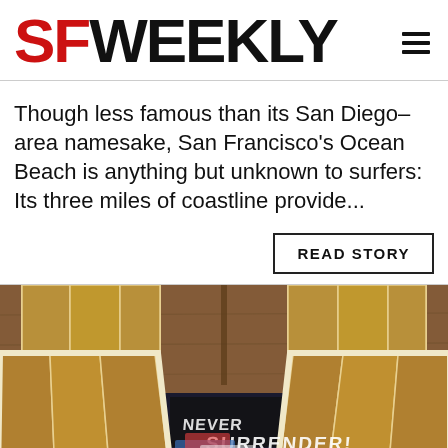SF WEEKLY
Though less famous than its San Diego–area namesake, San Francisco's Ocean Beach is anything but unknown to surfers: Its three miles of coastline provide...
READ STORY
[Figure (photo): Photo showing surfboard fins or organizational plastic trays with tan/amber colored compartments, set against a wooden background and a dark surface with graffiti text reading 'NEVER SURRENDER!']